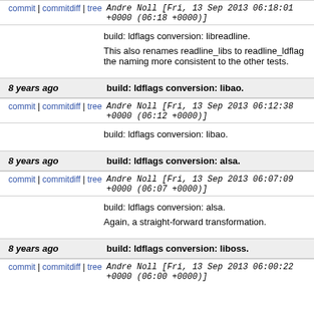commit | commitdiff | tree   Andre Noll [Fri, 13 Sep 2013 06:18:01 +0000 (06:18 +0000)]
build: ldflags conversion: libreadline.

This also renames readline_libs to readline_ldflags to make the naming more consistent to the other tests.
8 years ago   build: ldflags conversion: libao.
commit | commitdiff | tree   Andre Noll [Fri, 13 Sep 2013 06:12:38 +0000 (06:12 +0000)]
build: ldflags conversion: libao.
8 years ago   build: ldflags conversion: alsa.
commit | commitdiff | tree   Andre Noll [Fri, 13 Sep 2013 06:07:09 +0000 (06:07 +0000)]
build: ldflags conversion: alsa.

Again, a straight-forward transformation.
8 years ago   build: ldflags conversion: liboss.
commit | commitdiff | tree   Andre Noll [Fri, 13 Sep 2013 06:00:22 +0000 (06:00 +0000)]